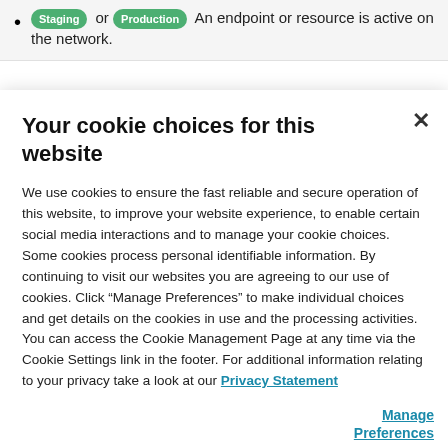Staging or Production An endpoint or resource is active on the network.
Your cookie choices for this website
We use cookies to ensure the fast reliable and secure operation of this website, to improve your website experience, to enable certain social media interactions and to manage your cookie choices. Some cookies process personal identifiable information. By continuing to visit our websites you are agreeing to our use of cookies. Click “Manage Preferences” to make individual choices and get details on the cookies in use and the processing activities. You can access the Cookie Management Page at any time via the Cookie Settings link in the footer. For additional information relating to your privacy take a look at our Privacy Statement
Manage Preferences